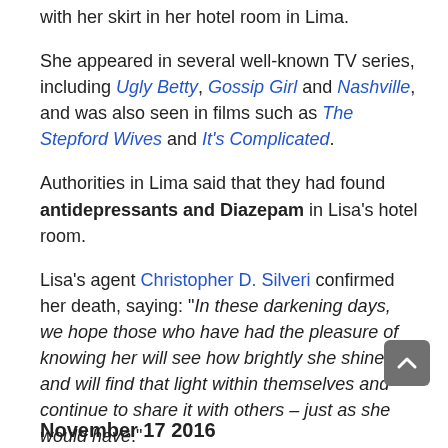with her skirt in her hotel room in Lima.
She appeared in several well-known TV series, including Ugly Betty, Gossip Girl and Nashville, and was also seen in films such as The Stepford Wives and It's Complicated.
Authorities in Lima said that they had found antidepressants and Diazepam in Lisa's hotel room.
Lisa's agent Christopher D. Silveri confirmed her death, saying: “In these darkening days, we hope those who have had the pleasure of knowing her will see how brightly she shined and will find that light within themselves and continue to share it with others – just as she would have.”
November 17 2016